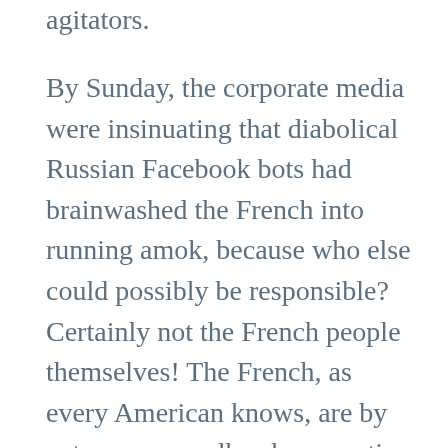agitators.
By Sunday, the corporate media were insinuating that diabolical Russian Facebook bots had brainwashed the French into running amok, because who else could possibly be responsible? Certainly not the French people themselves! The French, as every American knows, are by nature a cowardly, cheese-eating people, who have never overthrown their rightful rulers, or publicly beheaded the aristocracy. No, the French were just sitting there, smoking like chimneys, and otherwise enjoying their debt-enslavement and the privatization of their